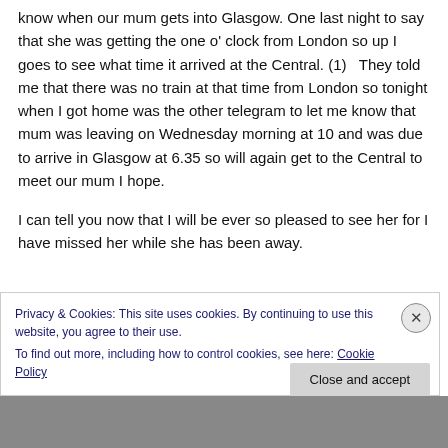know when our mum gets into Glasgow. One last night to say that she was getting the one o' clock from London so up I goes to see what time it arrived at the Central. (1)   They told me that there was no train at that time from London so tonight when I got home was the other telegram to let me know that mum was leaving on Wednesday morning at 10 and was due to arrive in Glasgow at 6.35 so will again get to the Central to meet our mum I hope.
I can tell you now that I will be ever so pleased to see her for I have missed her while she has been away.
Privacy & Cookies: This site uses cookies. By continuing to use this website, you agree to their use.
To find out more, including how to control cookies, see here: Cookie Policy